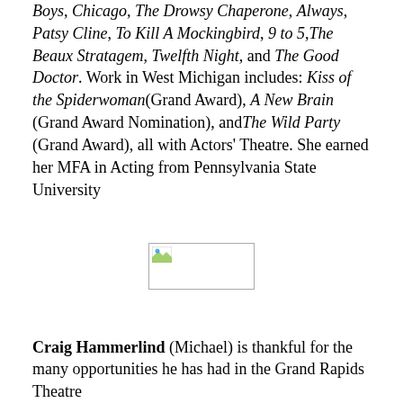Boys, Chicago, The Drowsy Chaperone, Always, Patsy Cline, To Kill A Mockingbird, 9 to 5, The Beaux Stratagem, Twelfth Night, and The Good Doctor. Work in West Michigan includes: Kiss of the Spiderwoman (Grand Award), A New Brain (Grand Award Nomination), and The Wild Party (Grand Award), all with Actors' Theatre. She earned her MFA in Acting from Pennsylvania State University
[Figure (photo): Broken/missing image placeholder shown as a small rectangle with image icon]
Craig Hammerlind (Michael) is thankful for the many opportunities he has had in the Grand Rapids Theatre